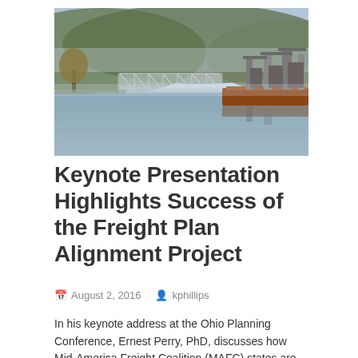[Figure (photo): A river scene showing a steel truss bridge in the background and industrial barges or docks with crane structures on the right, reflecting on calm water, with wooded hills behind.]
Keynote Presentation Highlights Success of the Freight Plan Alignment Project
August 2, 2016   kphillips
In his keynote address at the Ohio Planning Conference, Ernest Perry, PhD, discusses how Mid-America Freight Coalition (MAFC) states are sharing best practices, working